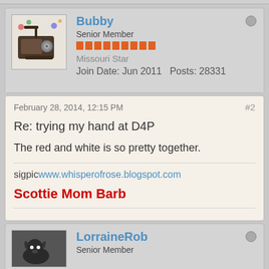Bubby
Senior Member
Missouri Star
Join Date: Jun 2011   Posts: 28331
February 28, 2014, 12:15 PM
#2
Re: trying my hand at D4P
The red and white is so pretty together.
sigpicwww.whisperofrose.blogspot.com
Scottie Mom Barb
LorraineRob
Senior Member